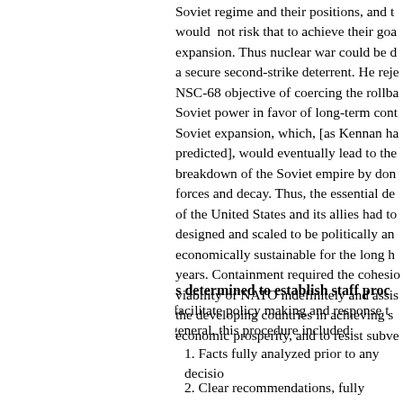Soviet regime and their positions, and they would not risk that to achieve their goals by expansion. Thus nuclear war could be deterred by a secure second-strike deterrent. He rejected the NSC-68 objective of coercing the rollback of Soviet power in favor of long-term containment of Soviet expansion, which, [as Kennan had predicted], would eventually lead to the internal breakdown of the Soviet empire by domestic forces and decay. Thus, the essential defense effort of the United States and its allies had to be designed and scaled to be politically and economically sustainable for the long haul of years. Containment required the cohesion and viability of NATO indefinitely and assisting the developing countries in achieving stability, economic prosperity, and to resist subversion.
Ike was determined to establish staff procedures that would facilitate policy making and response to crises. In general, this procedure included:
1. Facts fully analyzed prior to any decision.
2. Clear recommendations, fully coordinated.